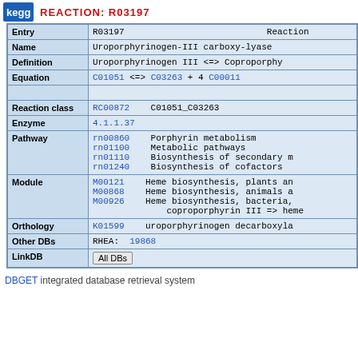REACTION: R03197
| Field | Value |
| --- | --- |
| Entry | R03197   Reaction |
| Name | Uroporphyrinogen-III carboxy-lyase |
| Definition | Uroporphyrinogen III <=> Coproporphyrinogen |
| Equation | C01051 <=> C03263 + 4 C00011 |
| Reaction class | RC00872   C01051_C03263 |
| Enzyme | 4.1.1.37 |
| Pathway | rn00860   Porphyrin metabolism
rn01100   Metabolic pathways
rn01110   Biosynthesis of secondary m
rn01240   Biosynthesis of cofactors |
| Module | M00121   Heme biosynthesis, plants an
M00868   Heme biosynthesis, animals a
M00926   Heme biosynthesis, bacteria,
          coproporphyrin III => heme |
| Orthology | K01599   uroporphyrinogen decarboxyla |
| Other DBs | RHEA: 19868 |
| LinkDB | All DBs |
DBGET integrated database retrieval system